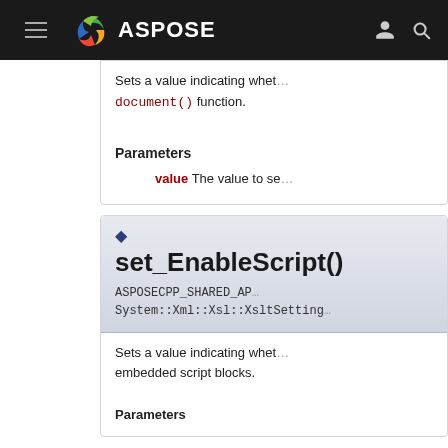ASPOSE
Sets a value indicating whet… document() function.
Parameters
value The value to se…
set_EnableScript()
ASPOSECPP_SHARED_AP… System::Xml::Xsl::XsltSetting…
Sets a value indicating whet… embedded script blocks.
Parameters